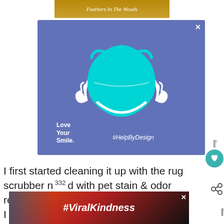[Figure (screenshot): Top partial banner ad showing text 'Feathers In The Woods' on a yellow/gold background]
[Figure (illustration): Blue background advertisement featuring a cyan surgical/face mask with cartoon arms raised and hands doing thumbs up. Text reads 'Love Your Smile.' and '#HelpByDesign'. Has an X close button in top right corner.]
I first started cleaning it up with the rug scrubber n d with pet stain & odor remover. That wasn't strong enough so I bought enzymatic pet odor sprays from the tried ess
[Figure (screenshot): Bottom partial advertisement showing hands making a heart shape against a sunset background with text '#ViralKindness']